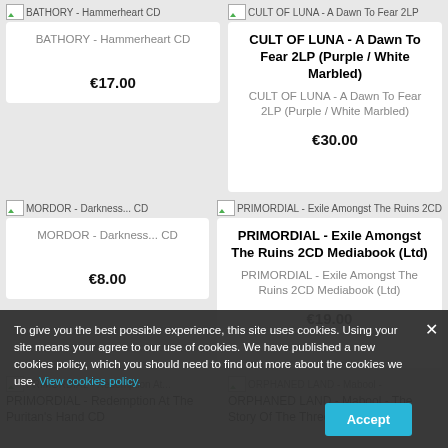[Figure (other): Product image placeholder for BATHORY - Hammerheart CD]
BATHORY - Hammerheart CD
€17.00
[Figure (other): Product image placeholder for CULT OF LUNA - A Dawn To Fear 2LP (Purple / White Marbled)]
CULT OF LUNA - A Dawn To Fear 2LP (Purple / White Marbled)
CULT OF LUNA - A Dawn To Fear 2LP (Purple / White Marbled)
€30.00
[Figure (other): Product image placeholder for MORDOR - Darkness... CD]
MORDOR - Darkness... CD
€8.00
[Figure (other): Product image placeholder for PRIMORDIAL - Exile Amongst The Ruins 2CD Mediabook (Ltd)]
PRIMORDIAL - Exile Amongst The Ruins 2CD Mediabook (Ltd)
PRIMORDIAL - Exile Amongst The Ruins 2CD Mediabook (Ltd)
€19.00
[Figure (other): Product image placeholder for PRIMORDIAL - Redemption At The Puritan's Hand CD]
PRIMORDIAL - Redemption At The Puritan's Hand CD
[Figure (other): Product image placeholder for ORPHANED LAND - Mabool - The Story Of The Three Sons Of]
ORPHANED LAND - Mabool - The Story Of The Three Sons Of
To give you the best possible experience, this site uses cookies. Using your site means your agree to our use of cookies. We have published a new cookies policy, which you should need to find out more about the cookies we use. View cookies policy.
Accept